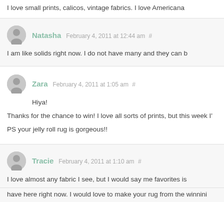I love small prints, calicos, vintage fabrics. I love Americana
Natasha February 4, 2011 at 12:44 am #
I am like solids right now. I do not have many and they can b
Zara February 4, 2011 at 1:05 am #
Hiya!
Thanks for the chance to win! I love all sorts of prints, but this week I'
PS your jelly roll rug is gorgeous!!
Tracie February 4, 2011 at 1:10 am #
I love almost any fabric I see, but I would say me favorites is
have here right now. I would love to make your rug from the winnini